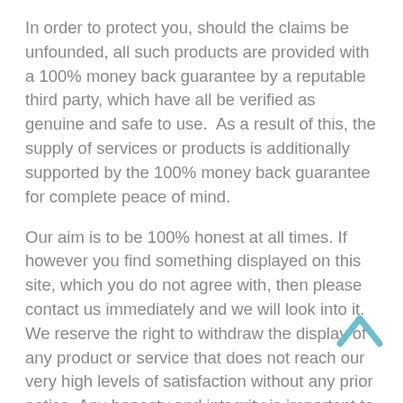In order to protect you, should the claims be unfounded, all such products are provided with a 100% money back guarantee by a reputable third party, which have all be verified as genuine and safe to use.  As a result of this, the supply of services or products is additionally supported by the 100% money back guarantee for complete peace of mind.
Our aim is to be 100% honest at all times. If however you find something displayed on this site, which you do not agree with, then please contact us immediately and we will look into it. We reserve the right to withdraw the display of any product or service that does not reach our very high levels of satisfaction without any prior notice. Any honesty and integrity is important to us at all times.
Potential Bias and Due Diligence